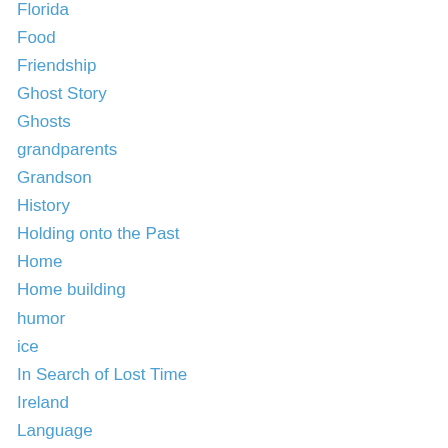Florida
Food
Friendship
Ghost Story
Ghosts
grandparents
Grandson
History
Holding onto the Past
Home
Home building
humor
ice
In Search of Lost Time
Ireland
Language
LGBT
Love
lunar samples